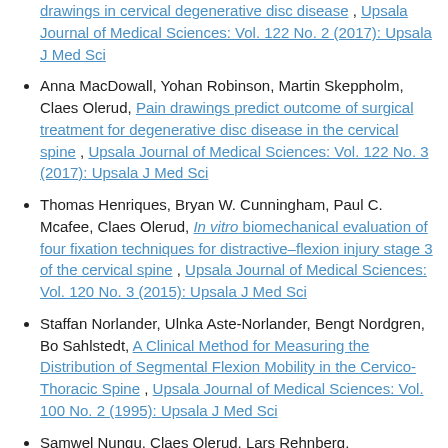drawings in cervical degenerative disc disease , Upsala Journal of Medical Sciences: Vol. 122 No. 2 (2017): Upsala J Med Sci
Anna MacDowall, Yohan Robinson, Martin Skeppholm, Claes Olerud, Pain drawings predict outcome of surgical treatment for degenerative disc disease in the cervical spine , Upsala Journal of Medical Sciences: Vol. 122 No. 3 (2017): Upsala J Med Sci
Thomas Henriques, Bryan W. Cunningham, Paul C. Mcafee, Claes Olerud, In vitro biomechanical evaluation of four fixation techniques for distractive–flexion injury stage 3 of the cervical spine , Upsala Journal of Medical Sciences: Vol. 120 No. 3 (2015): Upsala J Med Sci
Staffan Norlander, Ulnka Aste-Norlander, Bengt Nordgren, Bo Sahlstedt, A Clinical Method for Measuring the Distribution of Segmental Flexion Mobility in the Cervico-Thoracic Spine , Upsala Journal of Medical Sciences: Vol. 100 No. 2 (1995): Upsala J Med Sci
Samwel Nungu, Claes Olerud, Lars Rehnberg, Sternocostoclavicular Hyperostosis , Upsala Journal of Medical Sciences: Vol. 97 No. 2 (1992): Upsala J Med Sci